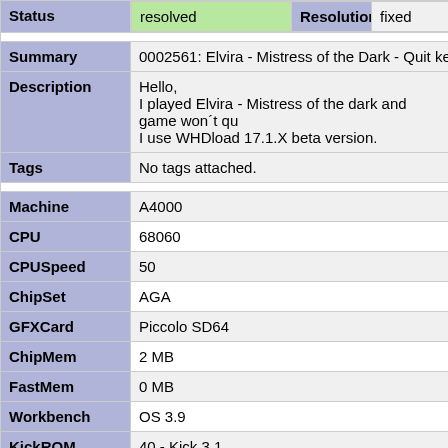| Status | resolved | Resolution | fixed |
| --- | --- | --- | --- |
| Summary | 0002561: Elvira - Mistress of the Dark - Quit key dosen't |
| Description | Hello,
I played Elvira - Mistress of the dark and game won't qu
I use WHDload 17.1.X beta version. |
| Tags | No tags attached. |
| Machine | A4000 |
| CPU | 68060 |
| CPUSpeed | 50 |
| ChipSet | AGA |
| GFXCard | Piccolo SD64 |
| ChipMem | 2 MB |
| FastMem | 0 MB |
| Workbench | OS 3.9 |
| KickROM | 40 - Kick 3.1 |
| KickSoft | None |
| WHDLoad | 17.0beta |
| imported |  |
| Attached |  |